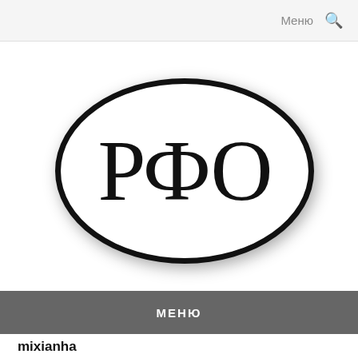Меню 🔍
[Figure (logo): Oval logo with Cyrillic letters РФО in large serif font, black border on white background with shadow]
МЕНЮ
mixianha